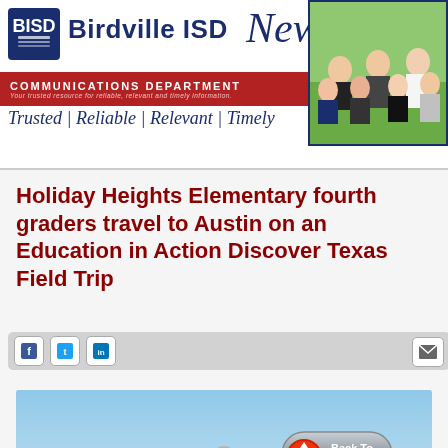BISD Birdville ISD News — Communications Department — Your trusted resource for reliable, relevant and timely information. Trusted | Reliable | Relevant | Timely
[Figure (photo): Group photo of BISD Communications Department staff members, posed outdoors]
Holiday Heights Elementary fourth graders travel to Austin on an Education in Action Discover Texas Field Trip
[Figure (infographic): Social media share icons: Facebook, Twitter, LinkedIn, and email envelope button]
[Figure (photo): Photo of Texas State Capitol dome building against a light blue sky, with a Back To Top button overlay]